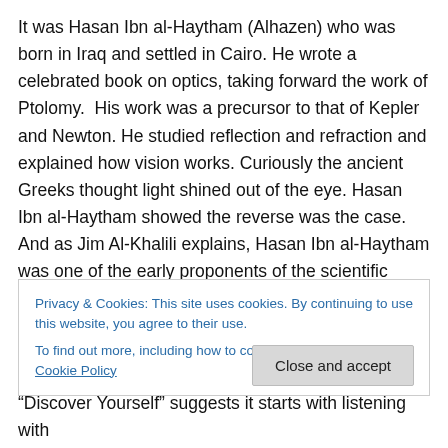It was Hasan Ibn al-Haytham (Alhazen) who was born in Iraq and settled in Cairo. He wrote a celebrated book on optics, taking forward the work of Ptolomy. His work was a precursor to that of Kepler and Newton. He studied reflection and refraction and explained how vision works. Curiously the ancient Greeks thought light shined out of the eye. Hasan Ibn al-Haytham showed the reverse was the case. And as Jim Al-Khalili explains, Hasan Ibn al-Haytham was one of the early proponents of the scientific method.” At the link right-click “Download audio” and select “Save Link As” from the pop-up menu.
Privacy & Cookies: This site uses cookies. By continuing to use this website, you agree to their use.
To find out more, including how to control cookies, see here: Cookie Policy
“Discover Yourself” suggests it starts with listening with